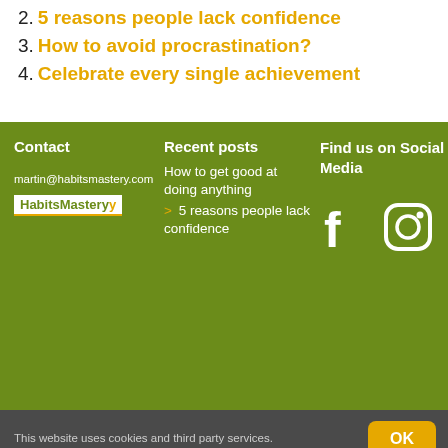2. 5 reasons people lack confidence
3. How to avoid procrastination?
4. Celebrate every single achievement
Contact
Recent posts
Find us on Social Media
martin@habitsmastery.com
[Figure (logo): HabitsMastery logo in white with yellow accent]
> How to get good at doing anything
> 5 reasons people lack confidence
[Figure (logo): Facebook and Instagram social media icons in white on green background]
This website uses cookies and third party services.